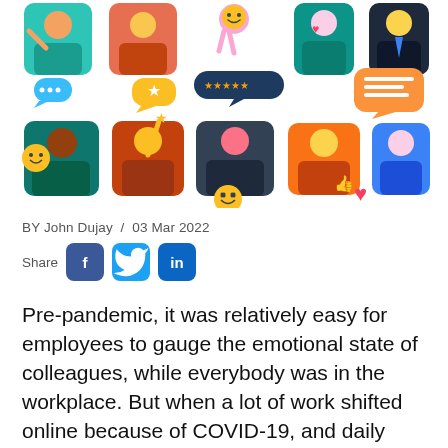[Figure (illustration): Colorful flat-style illustration of diverse people in video call frames with emoji reactions, speech bubbles, stars, and a heart icon — depicting online workplace communication and emotions.]
BY John Dujay  /  03 Mar 2022
Share [Facebook] [Twitter] [LinkedIn]
Pre-pandemic, it was relatively easy for employees to gauge the emotional state of colleagues, while everybody was in the workplace. But when a lot of work shifted online because of COVID-19, and daily communications consisted largely of emails, video